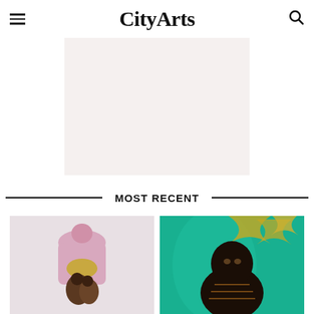CityArts
[Figure (other): Blank light pinkish-beige advertisement placeholder rectangle]
MOST RECENT
[Figure (illustration): Painting with abstract pink and yellow figures on light background — stylized human forms in pink, tan, and brown tones]
[Figure (illustration): Painting of a dark-skinned figure against a teal/turquoise background with golden leaf patterns]